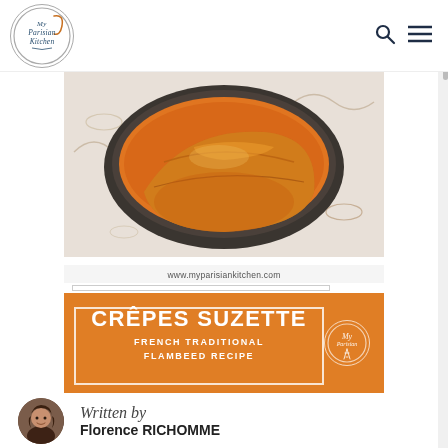My Parisian Kitchen
[Figure (photo): Top-down view of crepes suzette in a pan with orange caramel sauce, on a white floral patterned tablecloth]
[Figure (infographic): Recipe card image with orange background, text: www.myparisiankitchen.com, CRÊPES SUZETTE, FRENCH TRADITIONAL FLAMBEED RECIPE, with My Parisian Kitchen logo]
Written by
Florence RICHOMME